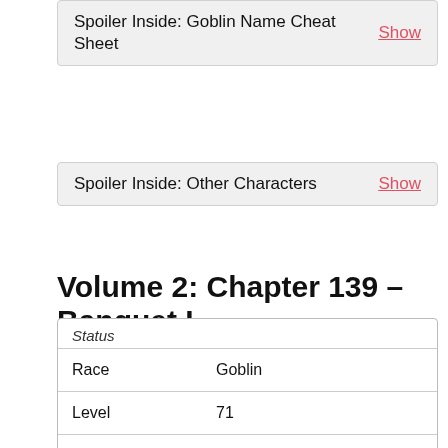Spoiler Inside: Goblin Name Cheat Sheet   Show
Spoiler Inside: Other Characters   Show
Volume 2: Chapter 139 – Banquet I
| Race | Goblin |
| Level | 71 |
| Class | King; Ruler |
| Possessed | Ruler of the |